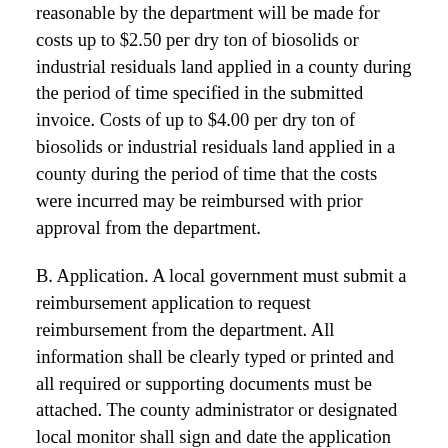reasonable by the department will be made for costs up to $2.50 per dry ton of biosolids or industrial residuals land applied in a county during the period of time specified in the submitted invoice. Costs of up to $4.00 per dry ton of biosolids or industrial residuals land applied in a county during the period of time that the costs were incurred may be reimbursed with prior approval from the department.
B. Application. A local government must submit a reimbursement application to request reimbursement from the department. All information shall be clearly typed or printed and all required or supporting documents must be attached. The county administrator or designated local monitor shall sign and date the application where indicated. The original signed application with one copy of each of the supporting documents shall be submitted to the department. Applications may not be submitted by facsimile or through electronic means. A reimbursement invoice form